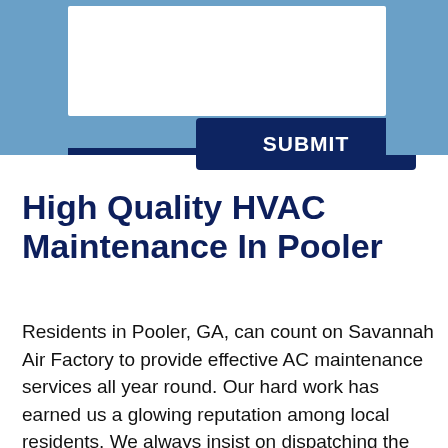[Figure (screenshot): Top portion of a web form UI with a white input box inside a light blue/steel blue background panel, and a dark navy blue 'SUBMIT' button centered below the input area.]
High Quality HVAC Maintenance In Pooler
Residents in Pooler, GA, can count on Savannah Air Factory to provide effective AC maintenance services all year round. Our hard work has earned us a glowing reputation among local residents. We always insist on dispatching the most qualified experts to work on your AC issues. We're proud to state that our technicians are fully